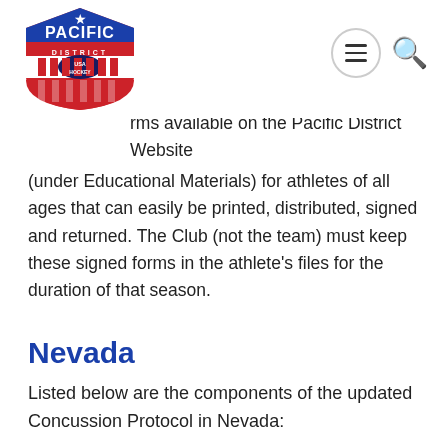Pacific District Hockey website navigation header
rms available on the Pacific District Website (under Educational Materials) for athletes of all ages that can easily be printed, distributed, signed and returned. The Club (not the team) must keep these signed forms in the athlete's files for the duration of that season.
Nevada
Listed below are the components of the updated Concussion Protocol in Nevada:
Pacific District Statement of Concussion Protocol: All